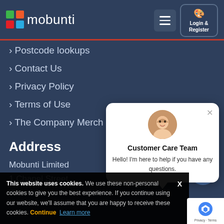[Figure (logo): Mobunti logo with colorful cube icon and white text 'mobunti']
> Postcode lookups
> Contact Us
> Privacy Policy
> Terms of Use
> The Company Merch
Address
Mobunti Limited
1 Chapel Street,
Warwick,
[Figure (illustration): Chat popup with avatar photo, Customer Care Team label and message: Hello! I'm here to help if you have any questions.]
Customer Care Team
Hello! I'm here to help if you have any questions.
This website uses cookies. We use these non-personal cookies to give you the best experience. If you continue using our website, we'll assume that you are happy to receive these cookies. Continue  Learn more